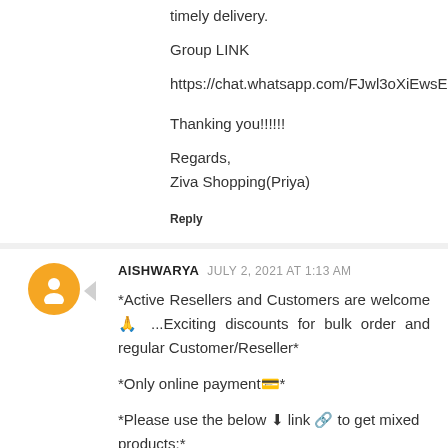timely delivery.
Group LINK
https://chat.whatsapp.com/FJwl3oXiEwsESQq6wlidwP
Thanking you!!!!!!
Regards,
Ziva Shopping(Priya)
Reply
AISHWARYA   JULY 2, 2021 AT 1:13 AM
*Active Resellers and Customers are welcome 🙏 ...Exciting discounts for bulk order and regular Customer/Reseller*
*Only online payment💳*
*Please use the below ⬇ link 🔗 to get mixed products:*
https://chat.whatsapp.com/IEwbFp1KyJr0uV1WKuQp2w